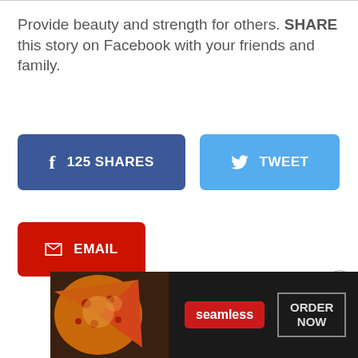Provide beauty and strength for others. SHARE this story on Facebook with your friends and family.
[Figure (screenshot): Facebook share button showing '125 SHARES' in dark blue, Twitter 'TWEET' button in light blue, Email button in red, and a Seamless food ordering advertisement banner at the bottom with 'ORDER NOW' button.]